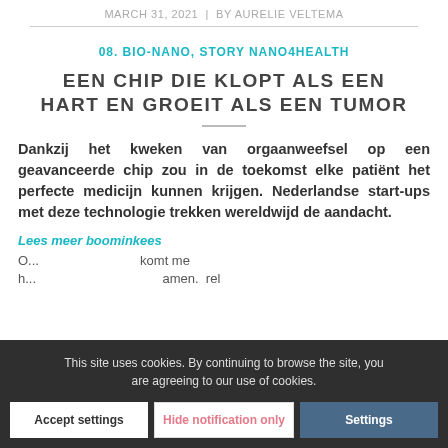MARCH 31, 2021  |  BY AURELIE VELTEMA
08. BIO-NANO, STORY NANO4HEALTH
EEN CHIP DIE KLOPT ALS EEN HART EN GROEIT ALS EEN TUMOR
Dankzij het kweken van orgaanweefsel op een geavanceerde chip zou in de toekomst elke patiënt het perfecte medicijn kunnen krijgen. Nederlandse start-ups met deze technologie trekken wereldwijd de aandacht.
Lees meer boominkees
O... komt me h... amen. rel